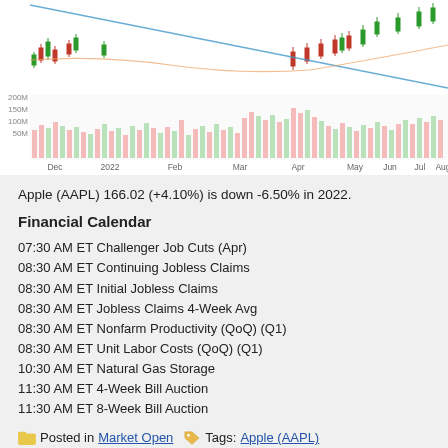[Figure (continuous-plot): Stock candlestick chart for Apple (AAPL) showing price action from December 2021 through August 2022, with volume bars at the bottom in pink/green. A blue diagonal trend line runs across the chart. Y-axis labels: 200M, 150M, 100M, 50M for volume. X-axis labels: Dec, 2022, Feb, Mar, Apr, May, Jun, Jul, Aug.]
Apple (AAPL) 166.02 (+4.10%) is down -6.50% in 2022.
Financial Calendar
07:30 AM ET Challenger Job Cuts (Apr)
08:30 AM ET Continuing Jobless Claims
08:30 AM ET Initial Jobless Claims
08:30 AM ET Jobless Claims 4-Week Avg
08:30 AM ET Nonfarm Productivity (QoQ) (Q1)
08:30 AM ET Unit Labor Costs (QoQ) (Q1)
10:30 AM ET Natural Gas Storage
11:30 AM ET 4-Week Bill Auction
11:30 AM ET 8-Week Bill Auction
Posted in Market Open  Tags: Apple (AAPL)
« Dow Closing Prices Wednesday, May 4, 2022
Dow Closing Prices Thursday 05/05/
Both comments and pings are currently closed.